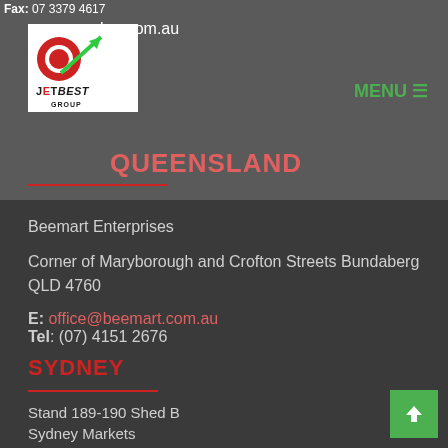Fax: 07 3379 4617
ber.com.au
MENU
[Figure (logo): JetBest Group logo with red apple and green arrow]
QUEENSLAND
Beemart Enterprises
Corner of Maryborough and Crofton Streets Bundaberg QLD 4760
Tel: (07) 4151 2676
E: office@beemart.com.au
SYDNEY
Stand 189-190 Shed B
Sydney Markets
Flemington NSW 2129